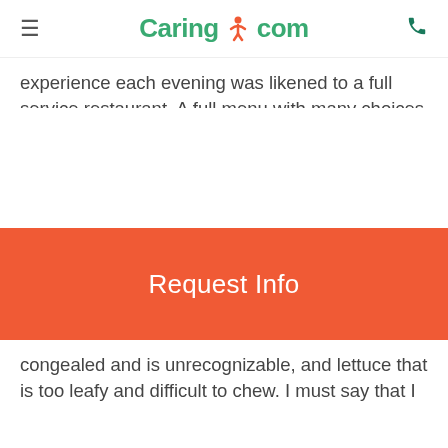Caring.com
experience each evening was likened to a full service restaurant. A full menu with many choices offered up to a 5 course meal if desired. Before the pandemic changes were made to the quality of food and preparation. When quarantines came in to effect the dining hall was understandably closed and food delivered to rooms, but the quality became worse. Now, the dining hall has been closed since February due to the week long winter storm. Carpeting and bathroom repairs have not been finished and residents are being served in individual buildings. No choice of selections and food has been even worse. Elderly shouldn't be
Request Info
congealed and is unrecognizable, and lettuce that is too leafy and difficult to chew. I must say that I